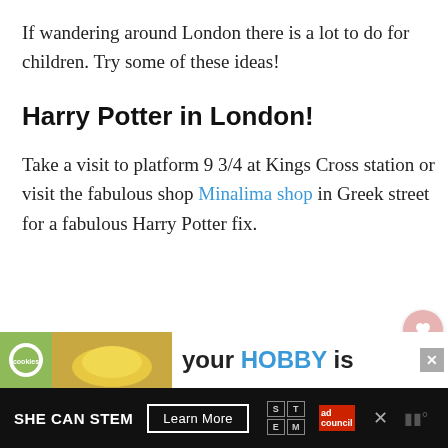If wandering around London there is a lot to do for children. Try some of these ideas!
Harry Potter in London!
Take a visit to platform 9 3/4 at Kings Cross station or visit the fabulous shop Minalima shop in Greek street for a fabulous Harry Potter fix.
[Figure (other): Heart/like button (pink circle with heart icon) and share button (white circle with share icon)]
[Figure (other): WHAT'S NEXT panel with thumbnail image and text 'Getting From The...']
[Figure (other): Advertisement banner: cookies image with 'your HOBBY is' text and close button]
[Figure (other): Footer advertisement bar: SHE CAN STEM with Learn More button, STEM logo, ad council logo, close button]